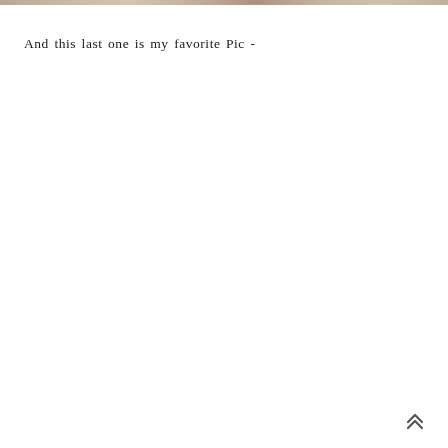[Figure (photo): A narrow horizontal strip of a photo at the very top of the page, showing a muted brownish/tan image, likely a landscape or outdoor scene.]
And this last one is my favorite Pic -
[Figure (illustration): A double upward chevron / scroll-to-top arrow icon in the bottom right corner of the page.]